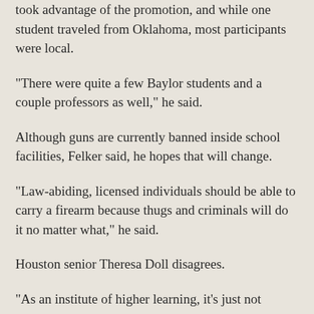took advantage of the promotion, and while one student traveled from Oklahoma, most participants were local.
"There were quite a few Baylor students and a couple professors as well," he said.
Although guns are currently banned inside school facilities, Felker said, he hopes that will change.
"Law-abiding, licensed individuals should be able to carry a firearm because thugs and criminals will do it no matter what," he said.
Houston senior Theresa Doll disagrees.
"As an institute of higher learning, it&#39;s just not necessary to have students carrying guns," she said. "That&#39;s what law enforcement is for."
Doll, a member of the Baylor Democrats, said the right to bear arms is often overstated.